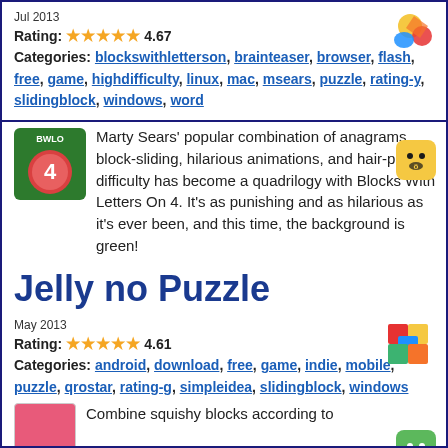Jul 2013
Rating: 4.67
Categories: blockswithletterson, brainteaser, browser, flash, free, game, highdifficulty, linux, mac, msears, puzzle, rating-y, slidingblock, windows, word
[Figure (logo): Colorful puzzle game icon top right]
[Figure (logo): Yellow smiley face icon mid right]
[Figure (illustration): BWLO 4 game icon - green background with pink circle and number 4]
Marty Sears' popular combination of anagrams, block-sliding, hilarious animations, and hair-pulling difficulty has become a quadrilogy with Blocks With Letters On 4. It's as punishing and as hilarious as it's ever been, and this time, the background is green!
Jelly no Puzzle
May 2013
Rating: 4.61
Categories: android, download, free, game, indie, mobile, puzzle, qrostar, rating-g, simpleidea, slidingblock, windows
[Figure (logo): Colorful cube/puzzle icon right side]
[Figure (logo): Green smiley face icon mid right]
[Figure (illustration): Pink/red jelly block game icon bottom left]
Combine squishy blocks according to